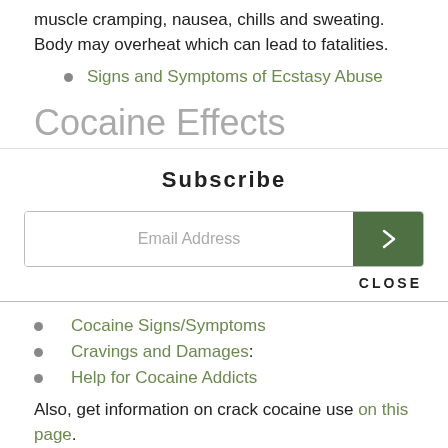muscle cramping, nausea, chills and sweating. Body may overheat which can lead to fatalities.
Signs and Symptoms of Ecstasy Abuse
Cocaine Effects
Subscribe
Email Address
CLOSE
Cocaine Signs/Symptoms
Cravings and Damages:
Help for Cocaine Addicts
Also, get information on crack cocaine use on this page.